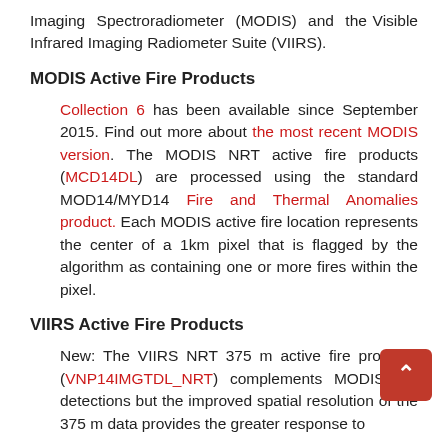Imaging Spectroradiometer (MODIS) and the Visible Infrared Imaging Radiometer Suite (VIIRS).
MODIS Active Fire Products
Collection 6 has been available since September 2015. Find out more about the most recent MODIS version. The MODIS NRT active fire products (MCD14DL) are processed using the standard MOD14/MYD14 Fire and Thermal Anomalies product. Each MODIS active fire location represents the center of a 1km pixel that is flagged by the algorithm as containing one or more fires within the pixel.
VIIRS Active Fire Products
New: The VIIRS NRT 375 m active fire products (VNP14IMGTDL_NRT) complements MODIS fire detections but the improved spatial resolution of the 375 m data provides the greater response to